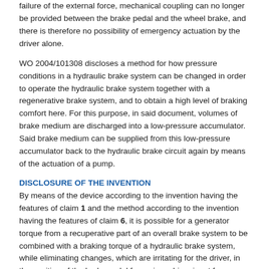failure of the external force, mechanical coupling can no longer be provided between the brake pedal and the wheel brake, and there is therefore no possibility of emergency actuation by the driver alone.
WO 2004/101308 discloses a method for how pressure conditions in a hydraulic brake system can be changed in order to operate the hydraulic brake system together with a regenerative brake system, and to obtain a high level of braking comfort here. For this purpose, in said document, volumes of brake medium are discharged into a low-pressure accumulator. Said brake medium can be supplied from this low-pressure accumulator back to the hydraulic brake circuit again by means of the actuation of a pump.
DISCLOSURE OF THE INVENTION
By means of the device according to the invention having the features of claim 1 and the method according to the invention having the features of claim 6, it is possible for a generator torque from a recuperative part of an overall brake system to be combined with a braking torque of a hydraulic brake system, while eliminating changes, which are irritating for the driver, in the position of the brake pedal for a given driver input force. Furthermore, in an emergency situation, there remains a fall-back level as a result of the fact that there is still coupling between the brake pedal and the hydraulic brake system.
For this purpose, a hydraulic accumulator device is connected to a